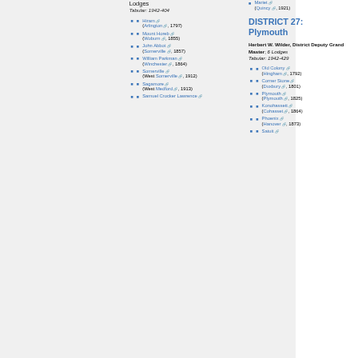Lodges
Tabular: 1942-404
Hiram (Arlington, 1797)
Mount Horeb (Woburn, 1855)
John Abbot (Somerville, 1857)
William Parkman (Winchester, 1864)
Somerville (West Somerville, 1912)
Sagamore (West Medford, 1913)
Samuel Crocker Lawrence
Mariet (Quincy, 1921)
DISTRICT 27: Plymouth
Herbert W. Wilder, District Deputy Grand Master; 6 Lodges Tabular: 1942-429
Old Colony (Hingham, 1792)
Corner Stone (Duxbury, 1801)
Plymouth (Plymouth, 1825)
Konohassett (Cohasset, 1864)
Phoenix (Hanover, 1873)
Satuit